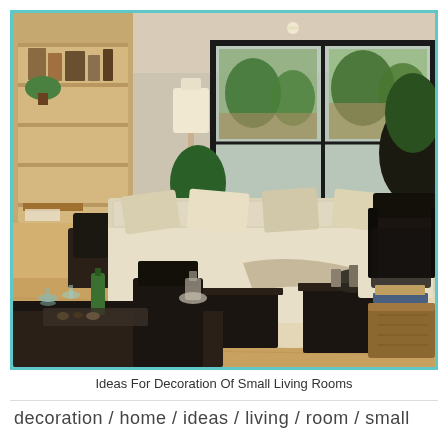[Figure (photo): Interior photo of a small living room with a cream/beige sectional sofa with throw pillows, dark wood coffee tables, dark armchairs, a floor lamp, potted plants near large sliding glass doors leading to an outdoor garden, a bookshelf and desk area on the left, a dining table in the foreground, and hardwood floors with a cream area rug. Framed by a teal/turquoise border.]
Ideas For Decoration Of Small Living Rooms
decoration / home / ideas / living / room / small